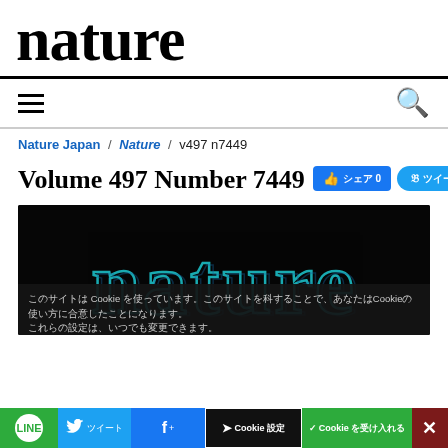nature
Nature Japan / Nature / v497 n7449
Volume 497 Number 7449
[Figure (screenshot): Nature journal cover image with 'nature' text in cyan/teal outline on dark background]
Cookie (cookie notice text in Japanese) Cookie 同意する / Cookie 設定を変更する